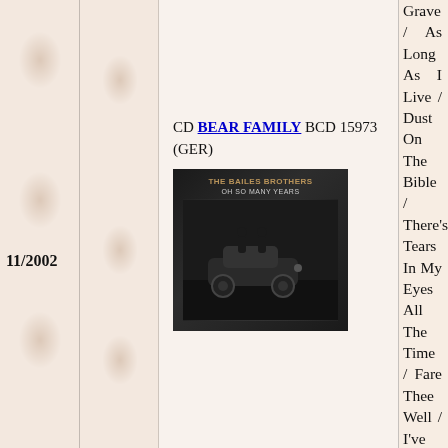11/2002
CD BEAR FAMILY BCD 15973 (GER)
[Figure (photo): Album cover for The Bailes Brothers 'Oh So Many Years' on Bear Family Records, dark background with vintage car and figures]
Grave / As Long As I Live / Dust On The Bible / There's Tears In My Eyes All The Time / Fare Thee Well / I've Got My One Way Ticket To The Sky / I Want To Be Loved (But Only By You) / Down Where The River Bends / I Guess I'll Go On Dreaming / Whiskey Is The Devil (In Liquid Form) / Broken Marriage Vows / Building On The Sands / We're Living In The Last Days Now / You'll Always Be The Only One / Oh So Many Years / If You Have Retreated From God / Ashamed To Own The Blessed Savior / Do You Expect A Reward From God / Read Roman Ten And Nine / Come To The Savior / Remember Me / Has The Devil Got A Mortgage On